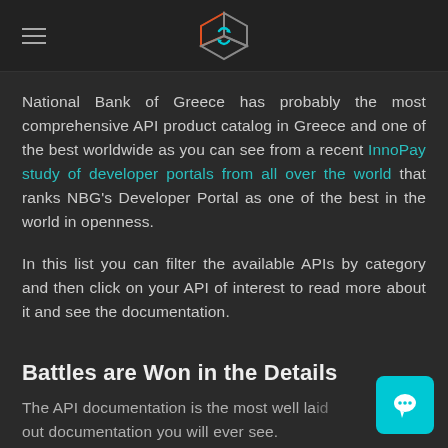[Logo: NBG Developer Portal cube icon with hamburger menu]
National Bank of Greece has probably the most comprehensive API product catalog in Greece and one of the best worldwide as you can see from a recent InnoPay study of developer portals from all over the world that ranks NBG's Developer Portal as one of the best in the world in openness.
In this list you can filter the available APIs by category and then click on your API of interest to read more about it and see the documentation.
Battles are Won in the Details
The API documentation is the most well laid out documentation you will ever see.